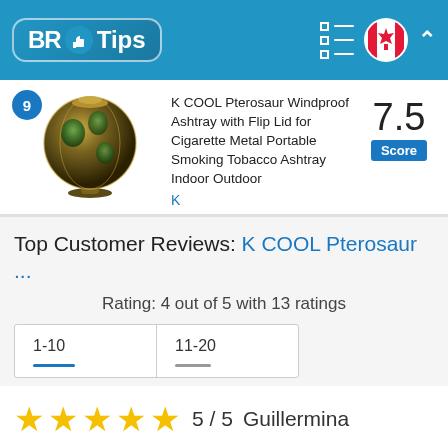[Figure (logo): BR Tips logo with thumbs up icon on blue header background, with menu icon, Canadian flag, and chevron on right]
K COOL Pterosaur Windproof Ashtray with Flip Lid for Cigarette Metal Portable Smoking Tobacco Ashtray Indoor Outdoor
K
7.5 Score
Top Customer Reviews: K COOL Pterosaur ...
Rating: 4 out of 5 with 13 ratings
1-10
11-20
[Figure (other): 5 gold stars rating, 5/5 score, reviewer name Guillermina]